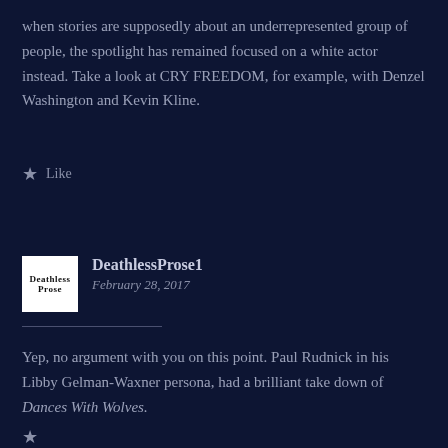when stories are supposedly about an underrepresented group of people, the spotlight has remained focused on a white actor instead. Take a look at CRY FREEDOM, for example, with Denzel Washington and Kevin Kline.
★ Like
[Figure (logo): Deathless Prose logo: white rectangle with 'Deathless Prose' text in black serif font]
DeathlessProse1
February 28, 2017
Yep, no argument with you on this point. Paul Rudnick in his Libby Gelman-Waxner persona, had a brilliant take down of Dances With Wolves.